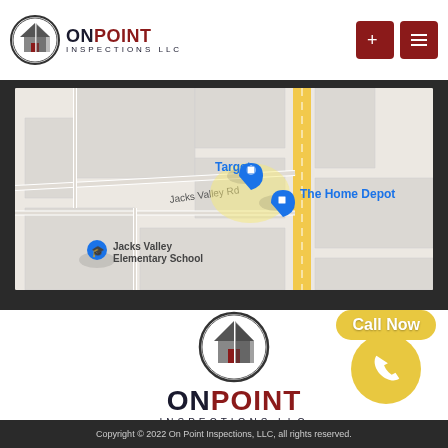[Figure (logo): OnPoint Inspections LLC logo with circular icon in header]
[Figure (map): Google Maps screenshot showing area near Jacks Valley Rd with Target, The Home Depot, and Jacks Valley Elementary School markers]
[Figure (logo): OnPoint Inspections LLC logo in footer area]
[Figure (infographic): Yellow Call Now button with phone icon circle]
Copyright © 2022 On Point Inspections, LLC, all rights reserved.